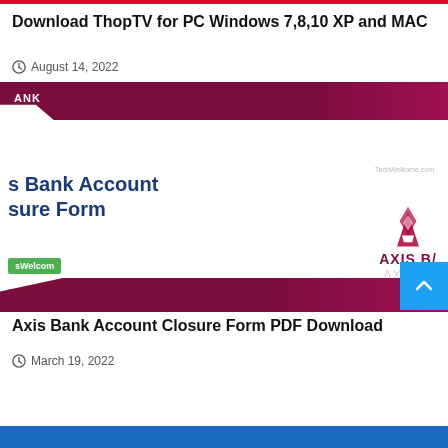Download ThopTV for PC Windows 7,8,10 XP and MAC
August 14, 2022
[Figure (screenshot): Screenshot of Axis Bank Account Closure Form page with Axis Bank logo, a green badge showing website URL, a Banking tag, and a dark red header/footer bar.]
Axis Bank Account Closure Form PDF Download
March 19, 2022